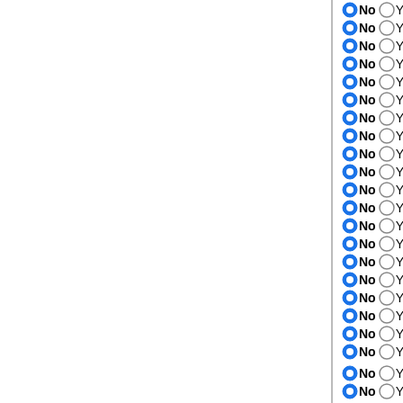No / Yes — Cryptosporidium muris
No / Yes — Cryptosporidium parvum low
No / Yes — Neospora caninum
No / Yes — Toxoplasma gondii VEG
No / Yes — Toxoplasma gondii ME49
No / Yes — Toxoplasma gondii GT1
No / Yes — Babesia bovis T2Bo
No / Yes — Theileria parva
No / Yes — Theileria annulata
No / Yes — Plasmodium falciparum 3D7
No / Yes — Plasmodium vivax Sal-1 7.0
No / Yes — Plasmodium knowlesi strain
No / Yes — Plasmodium yoelii ssp. yoeli
No / Yes — Plasmodium chabaudi
No / Yes — Plasmodium berghei ANKA
No / Yes — Symbiodinium minutum clade
No / Yes — Naegleria gruberi
No / Yes — Trichomonas vaginalis
No / Yes — Guillardia theta CCMP2712 v
No / Yes — Emiliania huxleyi CCMP1516
No / Yes — Xenopus (Silurana) tropicalis
No / Yes — Drosophila melanogaster Fly
No / Yes — Anopheles gambiae VectorB